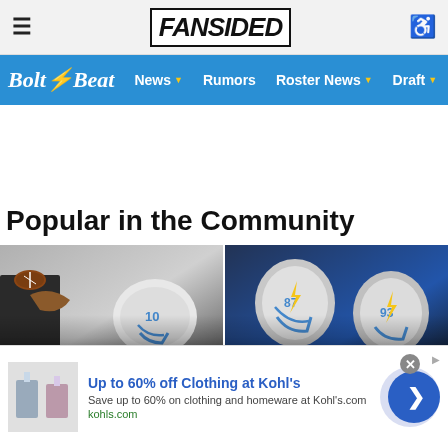≡ FANSIDED ♿
Bolt Beat  News ▾  Rumors  Roster News ▾  Draft ▾
Popular in the Community
[Figure (photo): Chargers player #10 throwing a football, helmet visible, dark background]
Chargers fans will love Justin Herbert's heartwarming
[Figure (photo): Chargers players #87 and #93 in helmets and blue uniforms]
Chargers who could be robbed of a roster spot
Up to 60% off Clothing at Kohl's
Save up to 60% on clothing and homeware at Kohl's.com
kohls.com